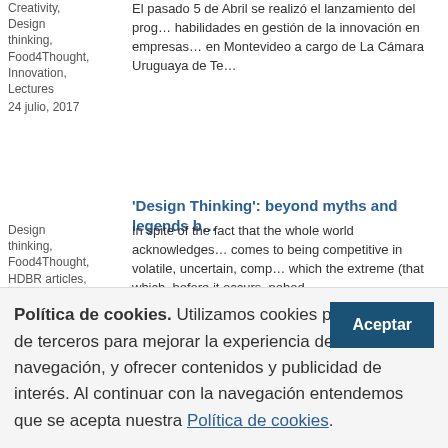Creativity, Design thinking, Food4Thought, Innovation, Lectures
24 julio, 2017
El pasado 5 de Abril se realizó el lanzamiento del prog... habilidades en gestión de la innovación en empresas... en Montevideo a cargo de La Cámara Uruguaya de Te...
'Design Thinking': beyond myths and legends b...
Design thinking, Food4Thought, HDBR articles, Innovation, Lectures
20 septiembre, 2016
In spite of the fact that the whole world acknowledges... comes to being competitive in volatile, uncertain, comp... which the extreme (that which, before it occurs, nobod...
Spreading Creative Thinking to boost economi...
Blue sky thinking workshops, Creativity, Design...
In line with its thrust area of the development of Nation... Asian Productivity Organization (APO) founded in 196... launched early in the 2000's, a series of annual worksh... competence … Sigue leyendo →
Política de cookies. Utilizamos cookies propias y de terceros para mejorar la experiencia de navegación, y ofrecer contenidos y publicidad de interés. Al continuar con la navegación entendemos que se acepta nuestra Política de cookies.